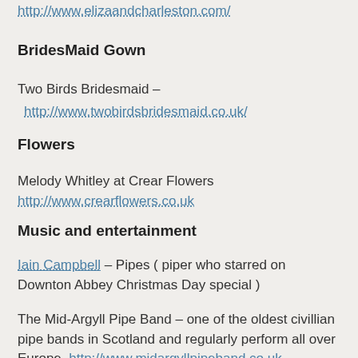http://www.elizaandcharleston.com/
BridesMaid Gown
Two Birds Bridesmaid –
http://www.twobirdsbridesmaid.co.uk/
Flowers
Melody Whitley at Crear Flowers
http://www.crearflowers.co.uk
Music and entertainment
Iain Campbell – Pipes ( piper who starred on Downton Abbey Christmas Day special )
The Mid-Argyll Pipe Band – one of the oldest civillian pipe bands in Scotland and regularly perform all over Europe. http://www.midargyllpipeband.co.uk